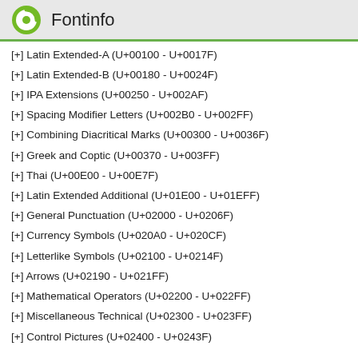Fontinfo
[+] Latin Extended-A (U+00100 - U+0017F)
[+] Latin Extended-B (U+00180 - U+0024F)
[+] IPA Extensions (U+00250 - U+002AF)
[+] Spacing Modifier Letters (U+002B0 - U+002FF)
[+] Combining Diacritical Marks (U+00300 - U+0036F)
[+] Greek and Coptic (U+00370 - U+003FF)
[+] Thai (U+00E00 - U+00E7F)
[+] Latin Extended Additional (U+01E00 - U+01EFF)
[+] General Punctuation (U+02000 - U+0206F)
[+] Currency Symbols (U+020A0 - U+020CF)
[+] Letterlike Symbols (U+02100 - U+0214F)
[+] Arrows (U+02190 - U+021FF)
[+] Mathematical Operators (U+02200 - U+022FF)
[+] Miscellaneous Technical (U+02300 - U+023FF)
[+] Control Pictures (U+02400 - U+0243F)